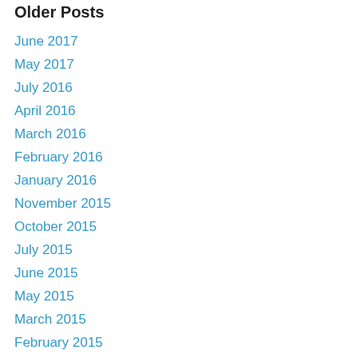Older Posts
June 2017
May 2017
July 2016
April 2016
March 2016
February 2016
January 2016
November 2015
October 2015
July 2015
June 2015
May 2015
March 2015
February 2015
December 2014
October 2014
July 2014
March 2014
December 2013